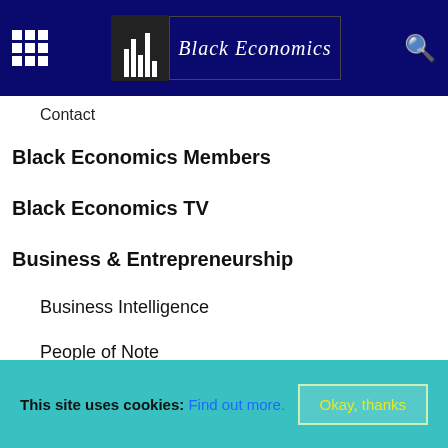Black Economics
Contact
Black Economics Members
Black Economics TV
Business & Entrepreneurship
Business Intelligence
People of Note
Entertainment
Sport
Technology
Manufacturing
Business Directory
Black Business Directory – Add a Business
This site uses cookies: Find out more. Okay, thanks